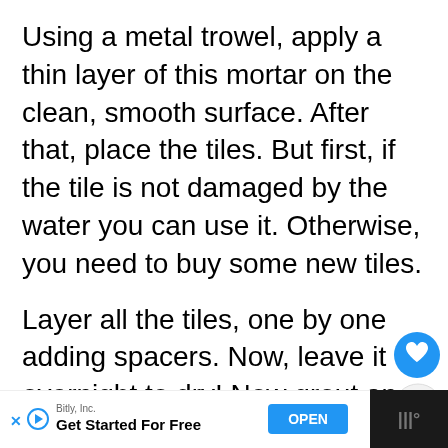Using a metal trowel, apply a thin layer of this mortar on the clean, smooth surface. After that, place the tiles. But first, if the tile is not damaged by the water you can use it. Otherwise, you need to buy some new tiles.
Layer all the tiles, one by one adding spacers. Now, leave it overnight to dry! Now grout and seal the area. Take your mixed grout and apply it over the joints. Wait for about half an hour and clean the excess with a d… Then let it dry for 24 hours.
[Figure (screenshot): UI overlay with heart/like button (blue circle), share button, and 'What's Next' panel showing 'Dryer Leaking Water on the...' thumbnail.]
[Figure (screenshot): Ad bar at bottom: Bitly, Inc. 'Get Started For Free' with OPEN button, and dark bar on right with audio/menu icon.]